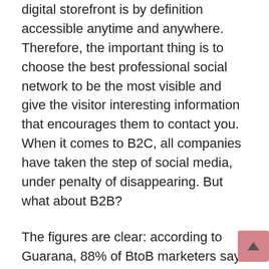digital storefront is by definition accessible anytime and anywhere. Therefore, the important thing is to choose the best professional social network to be the most visible and give the visitor interesting information that encourages them to contact you. When it comes to B2C, all companies have taken the step of social media, under penalty of disappearing. But what about B2B?
The figures are clear: according to Guarana, 88% of BtoB marketers say they use social media to find new customers. Thus, the new means of communication are a springboard for any activity. In an inboud marketing approach , it is advisable to choose the professional social network most suited to your activity and your target. The goal is to get your leads to you, by